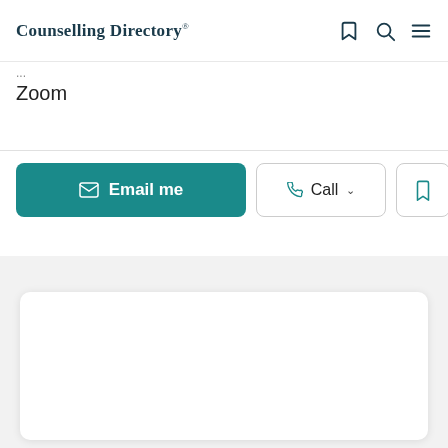Counselling Directory
Zoom
[Figure (screenshot): Action buttons row: Email me (teal button), Call (outline button with phone icon and chevron), and a bookmark icon button]
[Figure (screenshot): Gray background section with a white rounded card]